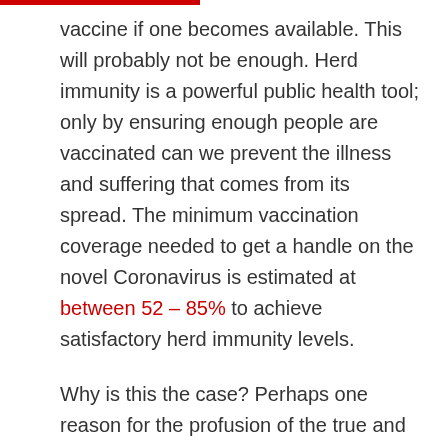vaccine if one becomes available. This will probably not be enough. Herd immunity is a powerful public health tool; only by ensuring enough people are vaccinated can we prevent the illness and suffering that comes from its spread. The minimum vaccination coverage needed to get a handle on the novel Coronavirus is estimated at between 52 – 85% to achieve satisfactory herd immunity levels.
Why is this the case? Perhaps one reason for the profusion of the true and false information about COVID-19 is, as described